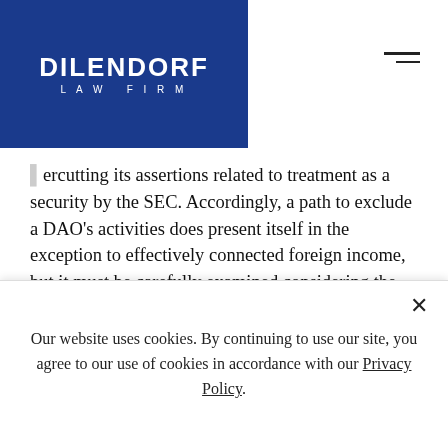DILENDORF LAW FIRM
ercutting its assertions related to treatment as a security by the SEC. Accordingly, a path to exclude a DAO's activities does present itself in the exception to effectively connected foreign income, but it must be carefully examined considering the significant risk associated with offshoring an entity for other reasons besides this issue.
[6] MakerDAO is an Ethereum-based decentralized DAO that issues the stablecoin DAI backed by a mixture of overcollateralized loans and Makerdao's
Our website uses cookies. By continuing to use our site, you agree to our use of cookies in accordance with our Privacy Policy.